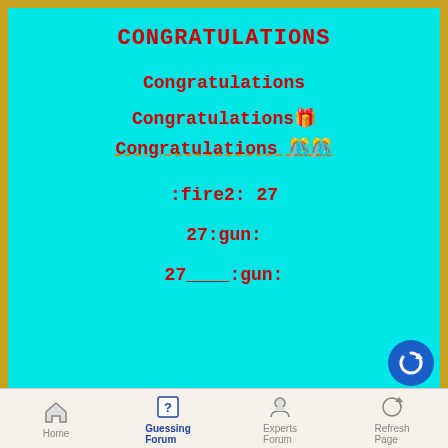CONGRATULATIONS
Congratulations
Congratulations🎉
Congratulations 🎊🎊
:fire2: 27
27:gun:
27____:gun:
Home | Guessing Forum | Experts Forum | Refresh Page